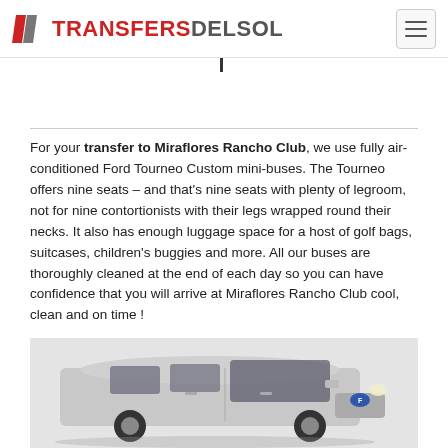TRANSFERS DEL SOL
For your transfer to Miraflores Rancho Club, we use fully air-conditioned Ford Tourneo Custom mini-buses. The Tourneo offers nine seats – and that's nine seats with plenty of legroom, not for nine contortionists with their legs wrapped round their necks. It also has enough luggage space for a host of golf bags, suitcases, children's buggies and more. All our buses are thoroughly cleaned at the end of each day so you can have confidence that you will arrive at Miraflores Rancho Club cool, clean and on time !
[Figure (photo): Silver Ford Tourneo Custom mini-bus shown from the front-left angle against a light grey background]